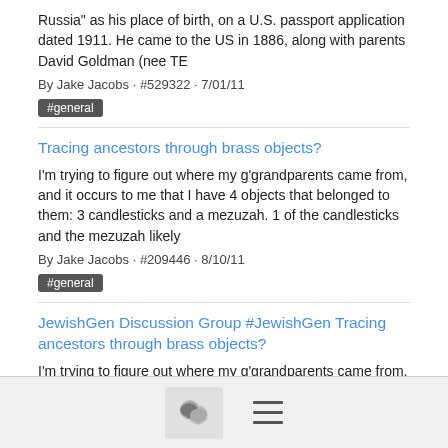Russia" as his place of birth, on a U.S. passport application dated 1911. He came to the US in 1886, along with parents David Goldman (nee TE
By Jake Jacobs · #529322 · 7/01/11
#general
Tracing ancestors through brass objects?
I'm trying to figure out where my g'grandparents came from, and it occurs to me that I have 4 objects that belonged to them: 3 candlesticks and a mezuzah. 1 of the candlesticks and the mezuzah likely
By Jake Jacobs · #209446 · 8/10/11
#general
JewishGen Discussion Group #JewishGen Tracing ancestors through brass objects?
I'm trying to figure out where my g'grandparents came from, and it occurs to me that I have 4 objects that belonged to them: 3 candlesticks and a mezuzah. 1 of the candlesticks and the